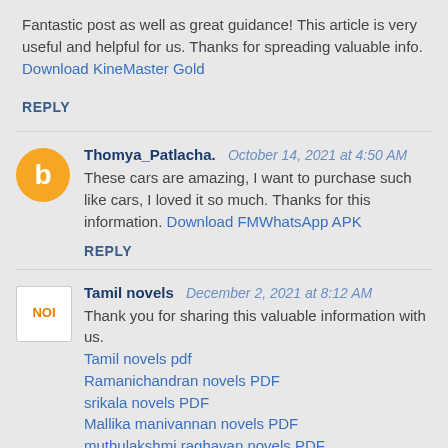Fantastic post as well as great guidance! This article is very useful and helpful for us. Thanks for spreading valuable info. Download KineMaster Gold
REPLY
Thomya_Patlacha.  October 14, 2021 at 4:50 AM
These cars are amazing, I want to purchase such like cars, I loved it so much. Thanks for this information. Download FMWhatsApp APK
REPLY
Tamil novels  December 2, 2021 at 8:12 AM
Thank you for sharing this valuable information with us.
Tamil novels pdf
Ramanichandran novels PDF
srikala novels PDF
Mallika manivannan novels PDF
muthulakshmi raghavan novels PDF